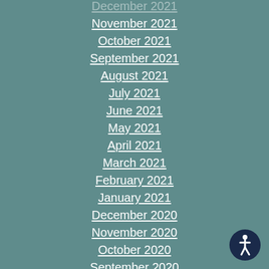December 2021
November 2021
October 2021
September 2021
August 2021
July 2021
June 2021
May 2021
April 2021
March 2021
February 2021
January 2021
December 2020
November 2020
October 2020
September 2020
August 2020
July 2020
June 2020
[Figure (illustration): Accessibility icon — circular dark navy badge with a white human figure in a dynamic pose, indicating accessibility features]